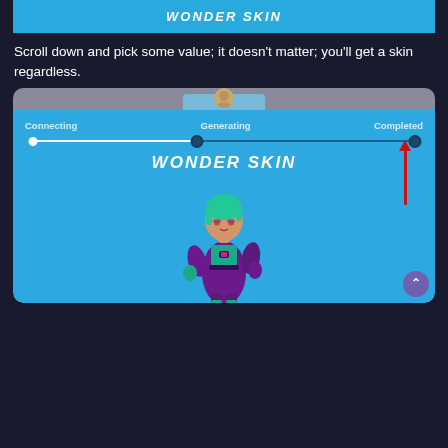WONDER SKIN
Scroll down and pick some value; it doesn't matter; you'll get a skin regardless.
[Figure (screenshot): Screenshot of a Fortnite skin generator UI showing a blue card with steps (Connecting, Generating, Completed), a progress bar with three dots, a red arrow pointing up, the text WONDER SKIN in bold italic, and a Fortnite character with teal hair wearing a purple and teal outfit. A purple scroll-to-top button is in the bottom right.]